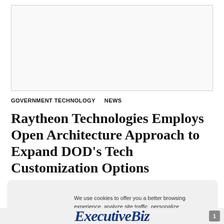[Figure (other): Advertisement placeholder box, light gray background with border]
GOVERNMENT TECHNOLOGY   NEWS
Raytheon Technologies Employs Open Architecture Approach to Expand DOD's Tech Customization Options
We use cookies to offer you a better browsing experience, analyze site traffic, personalize content, and serve targeted advertisements. Read about how we use cookies and how you can control them on our Privacy Policy. If you continue to use this site, you consent to our use of cookies.
[Figure (logo): ExecutiveBiz logo with tagline 'By GovCon Executive']
[Figure (logo): Partial ExecutiveBiz logo visible at bottom of page]